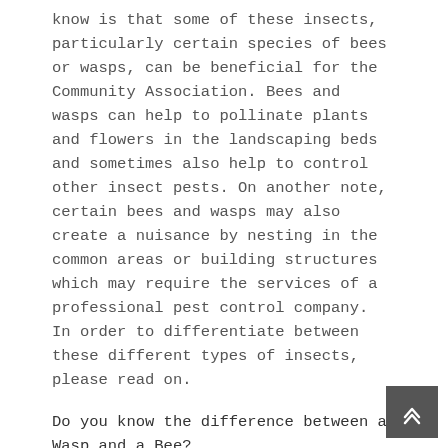know is that some of these insects, particularly certain species of bees or wasps, can be beneficial for the Community Association. Bees and wasps can help to pollinate plants and flowers in the landscaping beds and sometimes also help to control other insect pests. On another note, certain bees and wasps may also create a nuisance by nesting in the common areas or building structures which may require the services of a professional pest control company. In order to differentiate between these different types of insects, please read on.
Do you know the difference between a Wasp and a Bee?
Bees – Are flying insects closely related to wasps and ants. They are mostly known for their role in pollination and the integral part they play in our ecosystem. There are nearly 20,000 known species of bees in the world and they are found on every continent except Antarctica. Below are the most